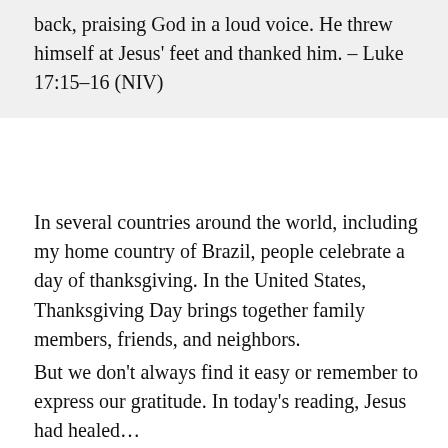back, praising God in a loud voice. He threw himself at Jesus' feet and thanked him. – Luke 17:15–16 (NIV)
In several countries around the world, including my home country of Brazil, people celebrate a day of thanksgiving. In the United States, Thanksgiving Day brings together family members, friends, and neighbors.
But we don't always find it easy or remember to express our gratitude. In today's reading, Jesus had healed...